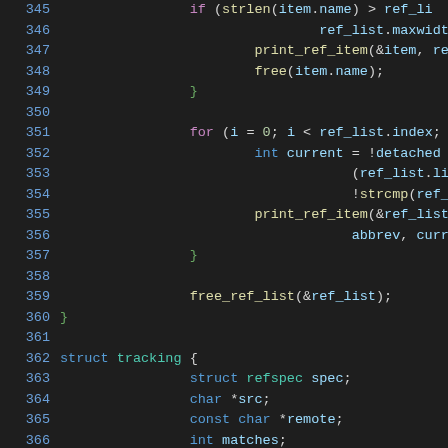[Figure (screenshot): Source code screenshot showing C code lines 345-374, with syntax highlighting on a dark background. Line numbers in blue on the left, keywords in blue, function calls in yellow/green, identifiers in various colors.]